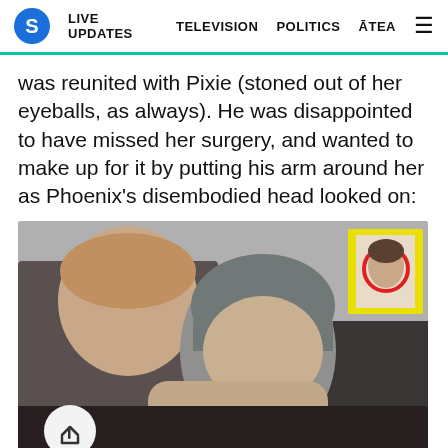S  LIVE UPDATES  TELEVISION  POLITICS  ĀTEA  ≡
was reunited with Pixie (stoned out of her eyeballs, as always). He was disappointed to have missed her surgery, and wanted to make up for it by putting his arm around her as Phoenix's disembodied head looked on:
[Figure (photo): A young man with his arm around a person wearing a grey beanie hat, who appears to be leaning against him. In the background upper right is a yellow-framed picture with a face circled in red. A share button (white circle with share icon) is visible in the lower left of the photo.]